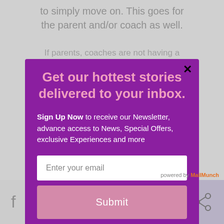to simply move on. This goes for the parent and/or coach as well.
If parents, coaches are not having a...
Get our hottest stories delivered to your inbox.
Sign Up Now to receive our Newsletter, advance access to News, Special Offers, exclusive Experiences and more
Enter your email
Submit
We'll assume you're ok with this, but you can opt-out if
powered by MailMunch